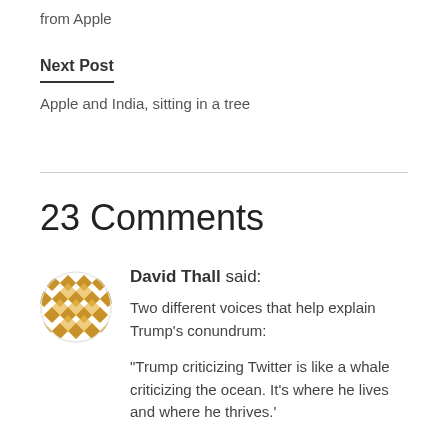from Apple
Next Post
Apple and India, sitting in a tree
23 Comments
David Thall said:
Two different voices that help explain Trump’s conundrum:
“Trump criticizing Twitter is like a whale criticizing the ocean. It’s where he lives and where he thrives.’